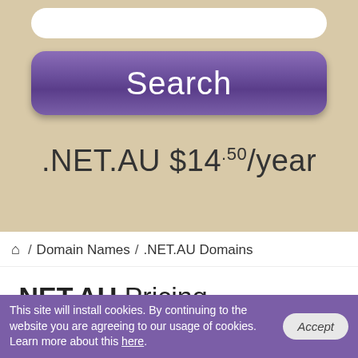[Figure (screenshot): Purple rounded Search button on beige background]
.NET.AU $14.50/year
/ Domain Names / .NET.AU Domains
.NET.AU Pricing
| TLD | 1 Year | 2 years | 3 years | 4 years | 5 years |
| --- | --- | --- | --- | --- | --- |
This site will install cookies. By continuing to the website you are agreeing to our usage of cookies. Learn more about this here.